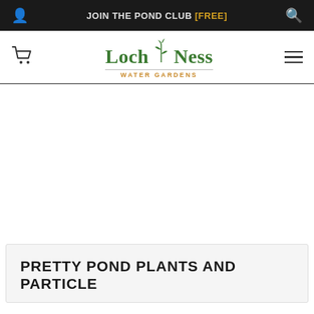JOIN THE POND CLUB [FREE]
[Figure (logo): Loch Ness Water Gardens logo with green plant illustration and orange subtitle text]
[Figure (photo): Blank white hero image area]
PRETTY POND PLANTS AND PARTICLE